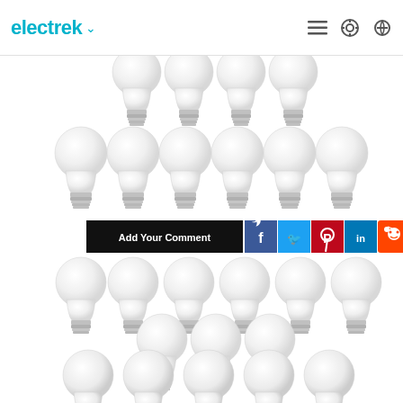electrek
[Figure (photo): Multiple rows of Philips LED light bulbs arranged in a grid pattern, shown on a white background. Top section shows 4 bulbs in the first row and 6 bulbs in the second row. A social sharing bar with 'Add Your Comment' button and Facebook, Twitter, Pinterest, LinkedIn, Reddit icons appears in the middle. Bottom section shows three more rows of bulbs: 6 bulbs, 3 bulbs, and 5 bulbs.]